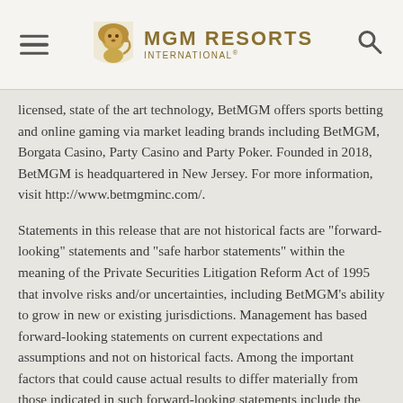MGM RESORTS INTERNATIONAL
licensed, state of the art technology, BetMGM offers sports betting and online gaming via market leading brands including BetMGM, Borgata Casino, Party Casino and Party Poker. Founded in 2018, BetMGM is headquartered in New Jersey. For more information, visit http://www.betmgminc.com/.
Statements in this release that are not historical facts are "forward-looking" statements and "safe harbor statements" within the meaning of the Private Securities Litigation Reform Act of 1995 that involve risks and/or uncertainties, including BetMGM's ability to grow in new or existing jurisdictions. Management has based forward-looking statements on current expectations and assumptions and not on historical facts. Among the important factors that could cause actual results to differ materially from those indicated in such forward-looking statements include the effects of economic and market conditions in the jurisdictions in which BetMGM operates, competition with other iGaming and sports betting platforms, the timing and costs of expanding in new jurisdictions as well as obtaining and maintaining the required permits, licenses, financings, approvals and other